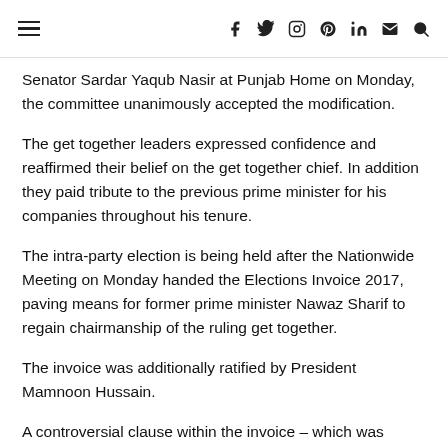≡  f   twitter  instagram  pinterest  in  mail  search
Senator Sardar Yaqub Nasir at Punjab Home on Monday, the committee unanimously accepted the modification.
The get together leaders expressed confidence and reaffirmed their belief on the get together chief. In addition they paid tribute to the previous prime minister for his companies throughout his tenure.
The intra-party election is being held after the Nationwide Meeting on Monday handed the Elections Invoice 2017, paving means for former prime minister Nawaz Sharif to regain chairmanship of the ruling get together.
The invoice was additionally ratified by President Mamnoon Hussain.
A controversial clause within the invoice – which was closely